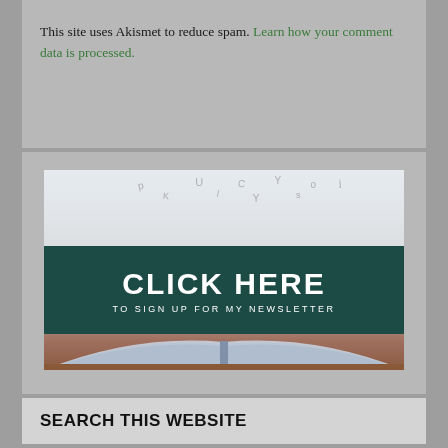This site uses Akismet to reduce spam. Learn how your comment data is processed.
[Figure (infographic): Newsletter signup banner showing an open book with floating letters and a dark teal banner reading CLICK HERE TO SIGN UP FOR MY NEWSLETTER]
SEARCH THIS WEBSITE